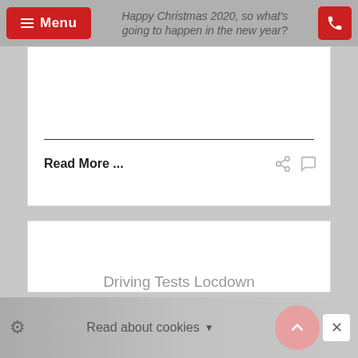Happy Christmas 2020, so what's going to happen in the new year?
Read More ...
[Figure (screenshot): White card content area (blank image area)]
Driving Tests Locdown
Read about cookies ▼